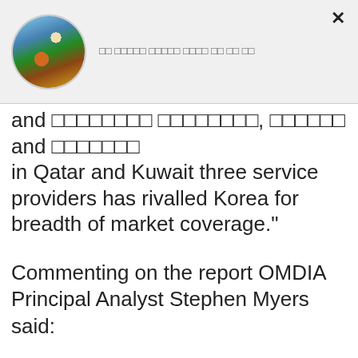□□ □□□□□ □□□□□ □□□□ □□ □□ □□
and □□□□□□□□ □□□□□□□□, □□□□□□ and □□□□□□□ in Qatar and Kuwait three service providers has rivalled Korea for breadth of market coverage."
Commenting on the report OMDIA Principal Analyst Stephen Myers said:
"The global market is steadily gearing up for 5G deployment but right now South Korea is leading the way - although markets like Switzerland have also made steady progress.
"Despite the COVID pandemic we are seeing governments and regulators pushing ahead with their